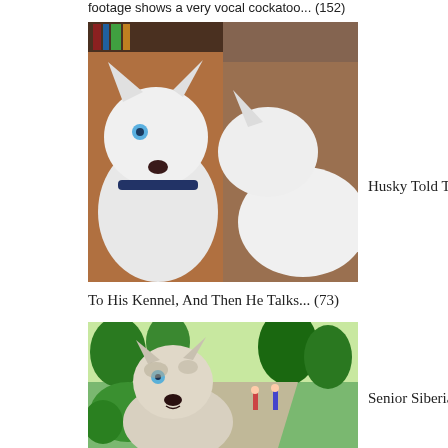footage shows a very vocal cockatoo... (152)
[Figure (photo): White Husky dog indoors, looking at camera, two-panel photo]
Husky Told To Go
To His Kennel, And Then He Talks... (73)
[Figure (photo): Senior Siberian Husky dog outdoors in a park setting]
Senior Siberian